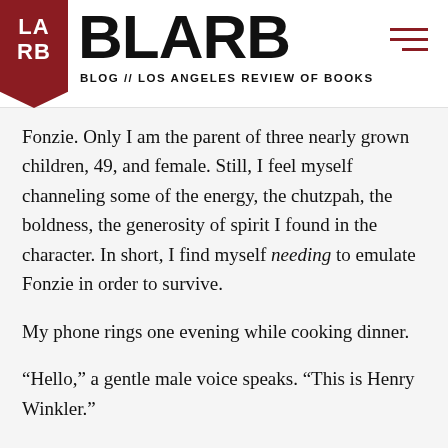BLARB
BLOG // LOS ANGELES REVIEW OF BOOKS
Fonzie. Only I am the parent of three nearly grown children, 49, and female. Still, I feel myself channeling some of the energy, the chutzpah, the boldness, the generosity of spirit I found in the character. In short, I find myself needing to emulate Fonzie in order to survive.
My phone rings one evening while cooking dinner.
“Hello,” a gentle male voice speaks. “This is Henry Winkler.”
I almost drop the phone. “You just made my